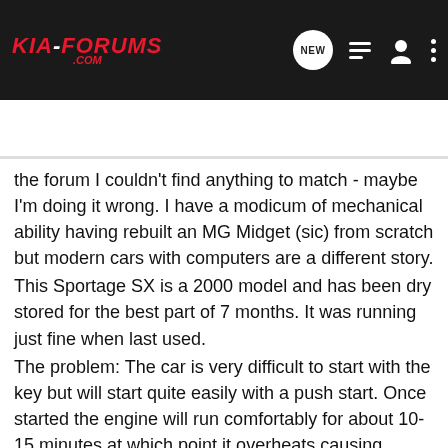KIA-FORUMS.COM — Search Community
the forum I couldn't find anything to match - maybe I'm doing it wrong. I have a modicum of mechanical ability having rebuilt an MG Midget (sic) from scratch but modern cars with computers are a different story.
This Sportage SX is a 2000 model and has been dry stored for the best part of 7 months. It was running just fine when last used.
The problem: The car is very difficult to start with the key but will start quite easily with a push start. Once started the engine will run comfortably for about 10-15 minutes at which point it overheats causing bubbling and coolant overflow from the expansion bottle cap. I'm not sure if I have 1 or 2 different problems here.
Any help greatly appreciated.